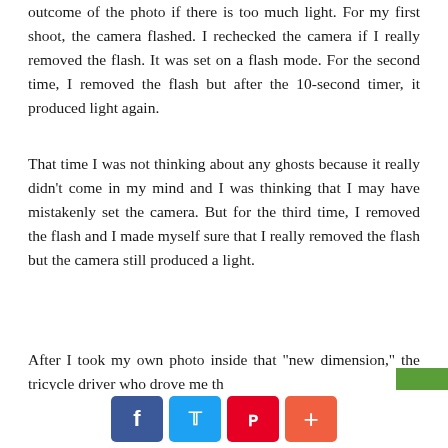outcome of the photo if there is too much light. For my first shoot, the camera flashed. I rechecked the camera if I really removed the flash. It was set on a flash mode. For the second time, I removed the flash but after the 10-second timer, it produced light again.
That time I was not thinking about any ghosts because it really didn't come in my mind and I was thinking that I may have mistakenly set the camera. But for the third time, I removed the flash and I made myself sure that I really removed the flash but the camera still produced a light.
After I took my own photo inside that "new dimension," the tricycle driver who drove me th...